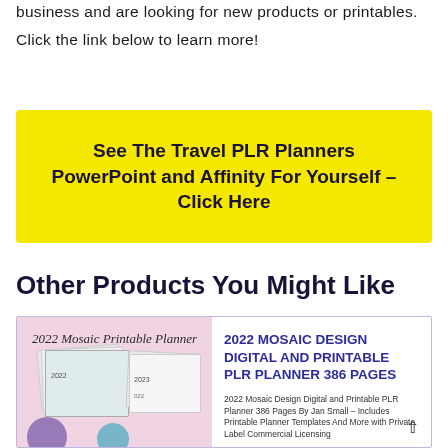business and are looking for new products or printables. Click the link below to learn more!
See The Travel PLR Planners PowerPoint and Affinity For Yourself – Click Here
Other Products You Might Like
[Figure (illustration): Product card showing 2022 Mosaic Printable Planner cover image on the left with pink/purple background, planner mockup pages, and product info on the right with title and description text.]
2022 MOSAIC DESIGN DIGITAL AND PRINTABLE PLR PLANNER 386 PAGES
2022 Mosaic Design Digital and Printable PLR Planner 386 Pages By Jan Small – Includes Printable Planner Templates And More with Private Label Commercial Licensing
The 2022 Mosaic Design Digital and Printable PLR Planner 386 Pages provides Printable Planner Templates And More You can easily edit and create new unique printables / product that you can sell for profit!